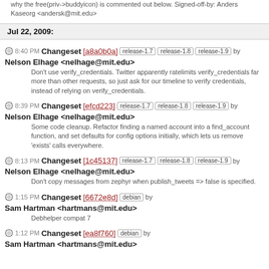why the free(priv->buddyicon) is commented out below. Signed-off-by: Anders Kaseorg <andersk@mit.edu>
Jul 22, 2009:
8:40 PM Changeset [a8a0b0a] release-1.7 release-1.8 release-1.9 by Nelson Elhage <nelhage@mit.edu>
Don't use verify_credentials. Twitter apparently ratelimits verify_credentials far more than other requests, so just ask for our timeline to verify credentials, instead of relying on verify_credentials.
8:39 PM Changeset [efcd223] release-1.7 release-1.8 release-1.9 by Nelson Elhage <nelhage@mit.edu>
Some code cleanup. Refactor finding a named account into a find_account function, and set defaults for config options initially, which lets us remove 'exists' calls everywhere.
8:13 PM Changeset [1c45137] release-1.7 release-1.8 release-1.9 by Nelson Elhage <nelhage@mit.edu>
Don't copy messages from zephyr when publish_tweets => false is specified.
1:15 PM Changeset [6672e8d] debian by Sam Hartman <hartmans@mit.edu>
Debhelper compat 7
1:12 PM Changeset [ea8f760] debian by Sam Hartman <hartmans@mit.edu>